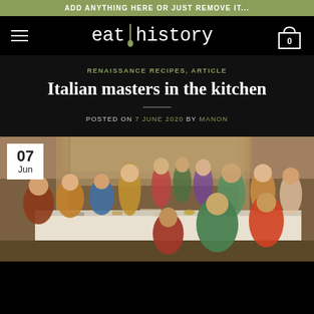ADD ANYTHING HERE OR JUST REMOVE IT...
[Figure (logo): eat|history logo with fork icon between 'eat' and 'history' in monospace font, white on black]
RENAISSANCE RECIPES, ARTICLE
Italian masters in the kitchen
POSTED ON 7 JUNE 2020 BY MANON
[Figure (photo): Renaissance painting depicting a large banquet scene with many figures in colorful period costumes seated and standing around a long table with food and drink. A date badge overlay shows '07 Jun' in white box at top left.]